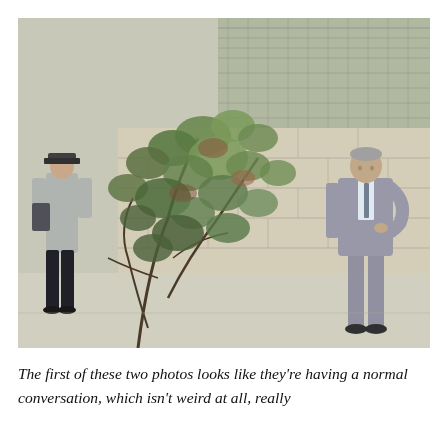[Figure (photo): Outdoor photograph showing two people near a concrete block wall and chain-link fence. On the left, a person wearing a hat and light jacket stands among green shrub/tree branches. On the right, a man in a grey suit stands with one hand near his face, looking downward. The setting appears to be an outdoor area with pavement visible at the bottom.]
The first of these two photos looks like they're having a normal conversation, which isn't weird at all, really